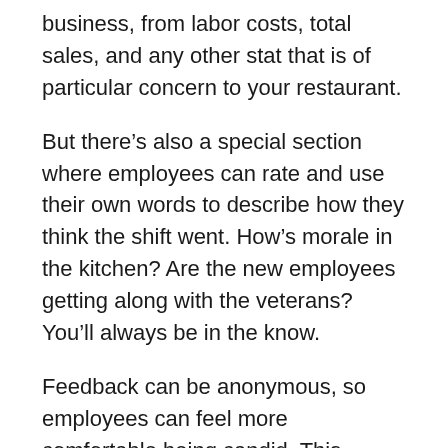business, from labor costs, total sales, and any other stat that is of particular concern to your restaurant.
But there’s also a special section where employees can rate and use their own words to describe how they think the shift went. How’s morale in the kitchen? Are the new employees getting along with the veterans? You’ll always be in the know.
Feedback can be anonymous, so employees can feel more comfortable being candid. This combination of anecdotes from the frontlines and powerful macro and micro data gives a full and true picture of every dimension of the restaurant’s operations.
Restaurant goers may still frequent restaurants for